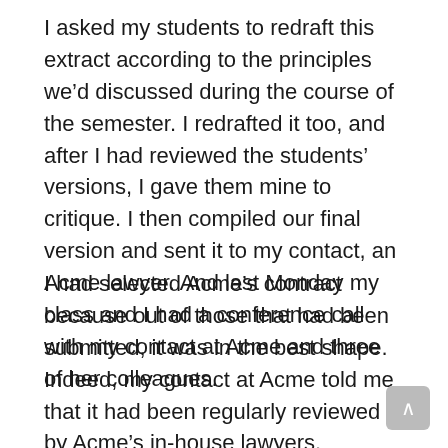I asked my students to redraft this extract according to the principles we'd discussed during the course of the semester. I redrafted it too, and after I had reviewed the students' versions, I gave them mine to critique. I then compiled our final version and sent it to my contact, an Acme lawyer. And last Monday my class and I had a conference call with my contact at Acme and three of her colleagues.
I had selected Acme's contract because out of those that had been submitted, it was in the best shape. Indeed, my contact at Acme told me that it had been regularly reviewed by Acme's in-house lawyers. Nevertheless, it was entirely a product of mainstream contract